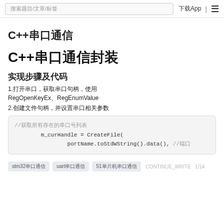搜索题目/文章/标签 下载App |
C++串口通信
C++串口通信封装
实现步骤及代码
1.打开串口，获取串口句柄，使用RegOpenKeyEx、RegEnumValue
2.创建文件句柄，并设置串口相关参数
//获取所有存在的串口号列表
        m_curHandle = CreateFile(
                portName.toStdWString().data(), //端口
stm32串口通信  uart串口通信  51单片机串口通信